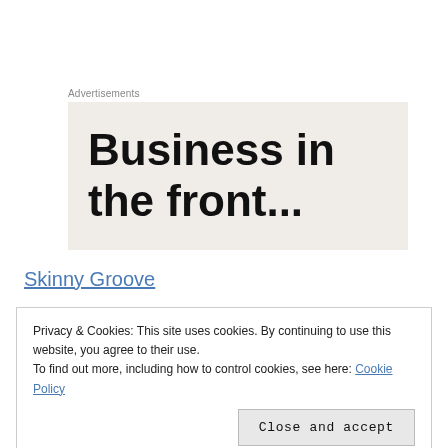Advertisements
[Figure (other): Advertisement banner with large bold text reading 'Business in the front...' on a light beige background]
Skinny Groove
Lulu does NOT always carry these pants. And when they do you have to stock up! I wore these into the hospital when I
Privacy & Cookies: This site uses cookies. By continuing to use this website, you agree to their use. To find out more, including how to control cookies, see here: Cookie Policy
with a proper wash, I have owned one pair of Skinny Grooves